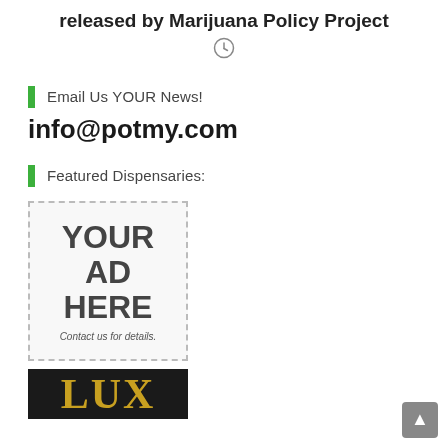released by Marijuana Policy Project
[Figure (other): Clock icon (loading/time indicator)]
Email Us YOUR News!
info@potmy.com
Featured Dispensaries:
[Figure (other): Advertisement placeholder box with dashed border. Text reads: YOUR AD HERE Contact us for details.]
[Figure (other): Dark background logo box showing partial gold letters 'LUX' or similar dispensary logo]